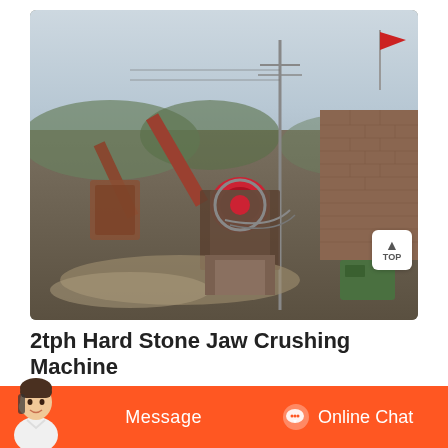[Figure (photo): Outdoor industrial stone crushing plant with jaw crusher machinery, conveyor belts, brick wall structure, utility pole, and red flag in background. Mining/quarry equipment setup.]
2tph Hard Stone Jaw Crushing Machine
1-3tph Diesel Jaw Crusher with Screen Model Ds1525 1. DS1525 mile Shannon Model DS1525 jaw crusher feeding size is 150...